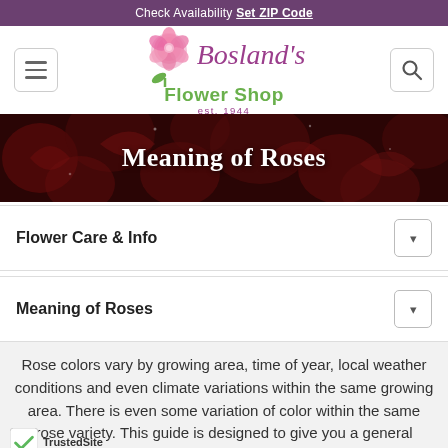Check Availability Set ZIP Code
[Figure (logo): Bosland's Flower Shop logo with pink rose illustration, est. 1944]
[Figure (photo): Dark red roses background banner with 'Meaning of Roses' title text]
Flower Care & Info
Meaning of Roses
Rose colors vary by growing area, time of year, local weather conditions and even climate variations within the same growing area. There is even some variation of color within the same rose variety. This guide is designed to give you a general sampling of many varieties which are popular today. New varieties are introduced every year.